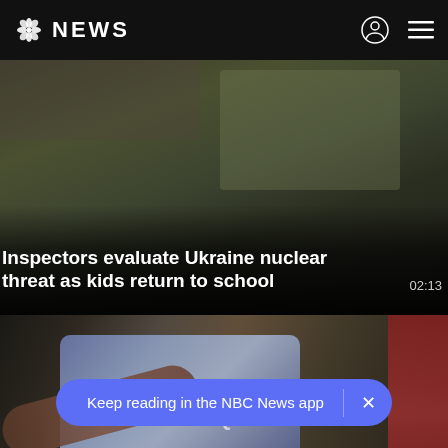NBC NEWS
Inspectors evaluate Ukraine nuclear threat as kids return to school
02:13
[Figure (photo): Outdoor scene related to Ukraine nuclear threat story]
Mississippi residents face uncertainty over return of clean water
02:18
[Figure (photo): Person handing a case of Aquafina water bottles, related to Mississippi water crisis]
[Figure (photo): Partial view of third news story card with pink/red background]
Keep reading in the NBC News app